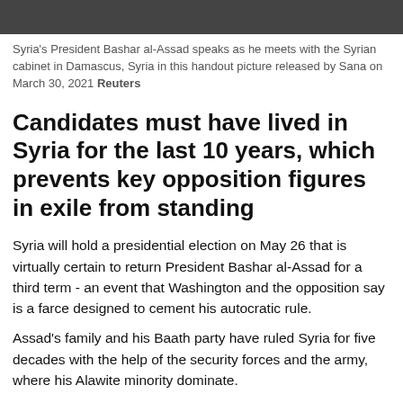[Figure (photo): Photo of Syria's President Bashar al-Assad speaking at a cabinet meeting in Damascus]
Syria's President Bashar al-Assad speaks as he meets with the Syrian cabinet in Damascus, Syria in this handout picture released by Sana on March 30, 2021 Reuters
Candidates must have lived in Syria for the last 10 years, which prevents key opposition figures in exile from standing
Syria will hold a presidential election on May 26 that is virtually certain to return President Bashar al-Assad for a third term - an event that Washington and the opposition say is a farce designed to cement his autocratic rule.
Assad's family and his Baath party have ruled Syria for five decades with the help of the security forces and the army, where his Alawite minority dominate.
This year is the 10th anniversary of a bloody crackdown on pro-democracy protesters which triggered a civil war that has left much of Syria in